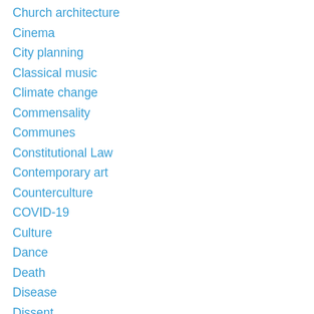Church architecture
Cinema
City planning
Classical music
Climate change
Commensality
Communes
Constitutional Law
Contemporary art
Counterculture
COVID-19
Culture
Dance
Death
Disease
Dissent
Donald Trump
Easter
Economic inequality
Economics